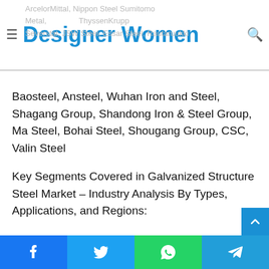Designer Women
Baosteel, Ansteel, Wuhan Iron and Steel, Shagang Group, Shandong Iron & Steel Group, Ma Steel, Bohai Steel, Shougang Group, CSC, Valin Steel
Key Segments Covered in Galvanized Structure Steel Market – Industry Analysis By Types, Applications, and Regions:
Galvanized Structure Steel Market – Types Outlook (Revenue, USD Million, 2017 – 2029)
• Electrical Galvanized Structure Steel
• Hot-dip Galvanized Structure Steel